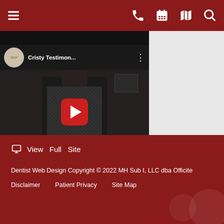Navigation bar with menu, phone, calendar, map, and search icons
[Figure (screenshot): YouTube video thumbnail titled 'Cristy Testimon...' showing a person seated in a dark room with a YouTube play button overlay]
View Full Site
Dentist Web Design Copyright © 2022 MH Sub I, LLC dba Officite
Disclaimer   Patient Privacy   Site Map